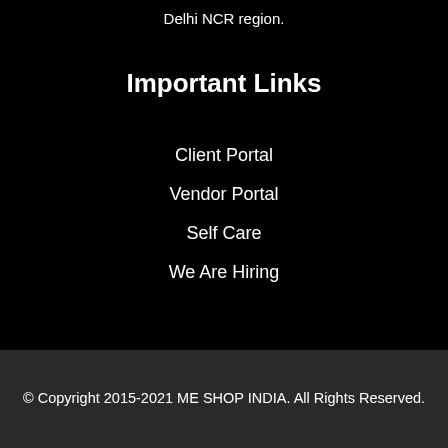Delhi NCR region.
Important Links
Client Portal
Vendor Portal
Self Care
We Are Hiring
© Copyright 2015-2021 ME SHOP INDIA. All Rights Reserved.